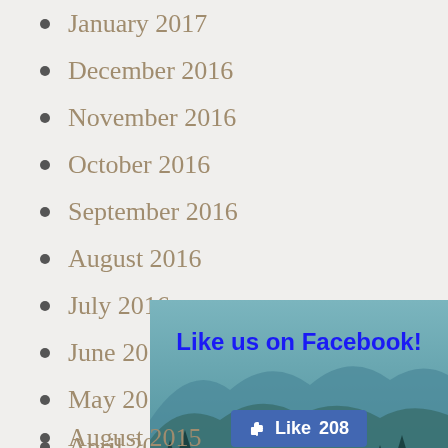January 2017
December 2016
November 2016
October 2016
September 2016
August 2016
July 2016
June 2016
May 2016
April 2016
[Figure (infographic): Facebook like banner with forest/mountain background. Text: 'Like us on Facebook!' in bold blue. A blue Like button showing '208' likes. A watermark icon at bottom center.]
August 2015
July 2015